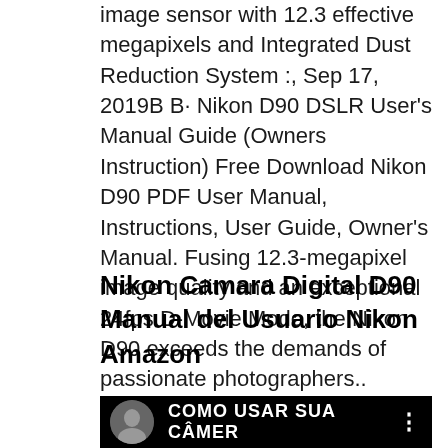image sensor with 12.3 effective megapixels and Integrated Dust Reduction System :, Sep 17, 2019B B· Nikon D90 DSLR User's Manual Guide (Owners Instruction) Free Download Nikon D90 PDF User Manual, Instructions, User Guide, Owner's Manual. Fusing 12.3-megapixel image quality and an exceptional 24fps D-Movie Mode, the Nikon D90 exceeds the demands of passionate photographers..
Nikon Camara Digital D90 Manual del Usuario Nikon Amazon
[Figure (photo): Dark banner image showing a person with text 'COMO USAR SUA CÂMER' on a black background]